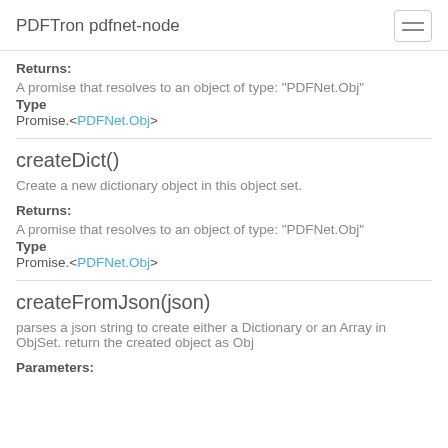PDFTron pdfnet-node
Returns:
A promise that resolves to an object of type: "PDFNet.Obj"
Type
Promise.<PDFNet.Obj>
createDict()
Create a new dictionary object in this object set.
Returns:
A promise that resolves to an object of type: "PDFNet.Obj"
Type
Promise.<PDFNet.Obj>
createFromJson(json)
parses a json string to create either a Dictionary or an Array in ObjSet. return the created object as Obj
Parameters: